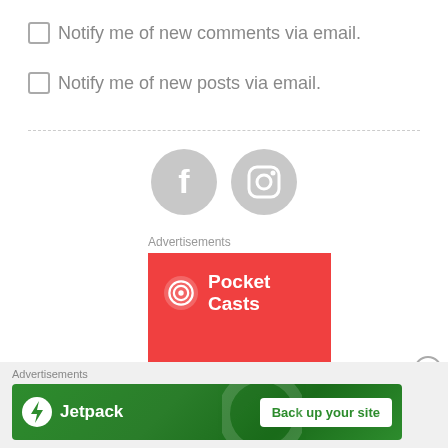Notify me of new comments via email.
Notify me of new posts via email.
[Figure (other): Facebook and Instagram social media icon circles in light gray]
Advertisements
[Figure (other): Pocket Casts advertisement banner with red background and white logo and text]
Advertisements
[Figure (other): Jetpack advertisement banner with green background, Jetpack logo, and Back up your site button]